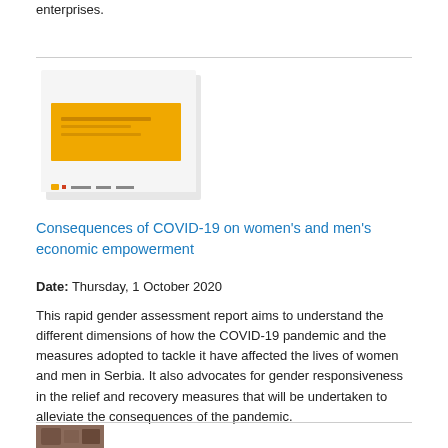enterprises.
[Figure (illustration): Thumbnail image of a report cover with orange/yellow background and small text, with a small logo strip at the bottom]
Consequences of COVID-19 on women's and men's economic empowerment
Date: Thursday, 1 October 2020
This rapid gender assessment report aims to understand the different dimensions of how the COVID-19 pandemic and the measures adopted to tackle it have affected the lives of women and men in Serbia. It also advocates for gender responsiveness in the relief and recovery measures that will be undertaken to alleviate the consequences of the pandemic.
[Figure (photo): Partial thumbnail photo visible at the bottom of the page]